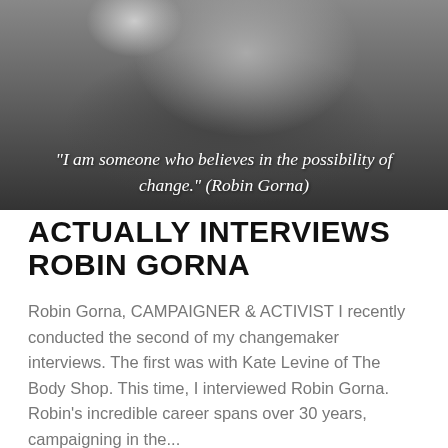[Figure (photo): Black and white photo of Robin Gorna, a woman with light hair wearing a dark jacket and pearl necklace, with a quote overlay]
"I am someone who believes in the possibility of change." (Robin Gorna)
ACTUALLY INTERVIEWS ROBIN GORNA
Robin Gorna, CAMPAIGNER & ACTIVIST I recently conducted the second of my changemaker interviews. The first was with Kate Levine of The Body Shop. This time, I interviewed Robin Gorna. Robin's incredible career spans over 30 years, campaigning in the...